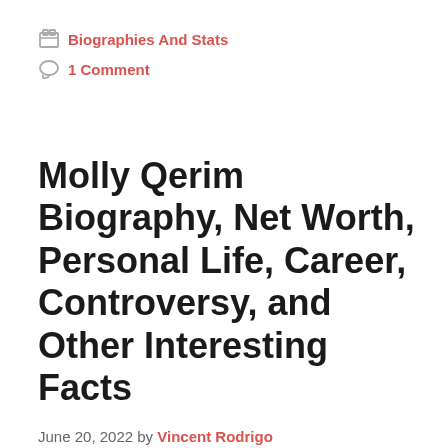Biographies And Stats
1 Comment
Molly Qerim Biography, Net Worth, Personal Life, Career, Controversy, and Other Interesting Facts
June 20, 2022 by Vincent Rodrigo